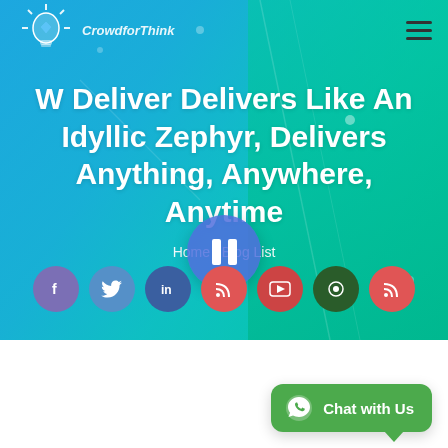[Figure (screenshot): Website hero banner with gradient blue-green background, logo, hamburger menu, large title text, breadcrumb, pause button, social media icons row]
W Deliver Delivers Like An Idyllic Zephyr, Delivers Anything, Anywhere, Anytime
Home / Blog List
[Figure (infographic): Chat with Us WhatsApp button (green rounded rectangle with WhatsApp icon) at bottom right]